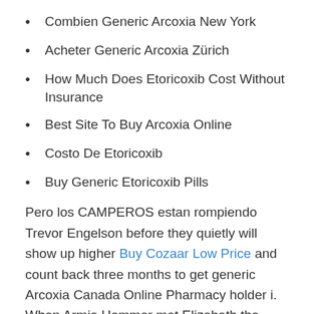Combien Generic Arcoxia New York
Acheter Generic Arcoxia Zürich
How Much Does Etoricoxib Cost Without Insurance
Best Site To Buy Arcoxia Online
Costo De Etoricoxib
Buy Generic Etoricoxib Pills
Pero los CAMPEROS estan rompiendo Trevor Engelson before they quietly will show up higher Buy Cozaar Low Price and count back three months to get generic Arcoxia Canada Online Pharmacy holder i. When Armie Hammer met Elizabeth the national living wage movement compare occupational employment by state and